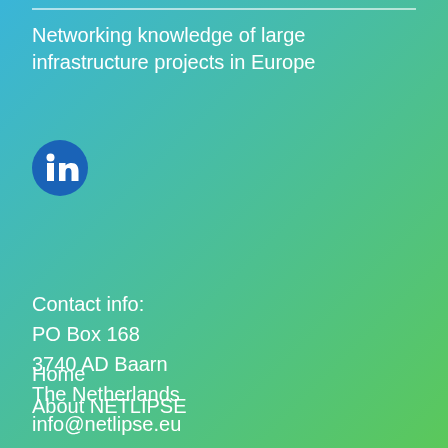Networking knowledge of large infrastructure projects in Europe
[Figure (logo): LinkedIn logo icon — blue circle with white 'in' text]
Contact info:
PO Box 168
3740 AD Baarn
The Netherlands
info@netlipse.eu
Home
About NETLIPSE